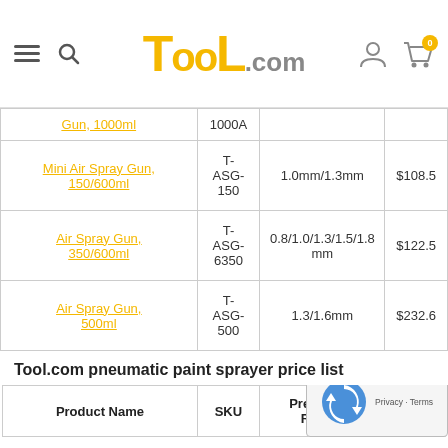Tool.com
| Product Name | SKU | Nozzle Size | Price |
| --- | --- | --- | --- |
| Gun, 1000ml | 1000A |  |  |
| Mini Air Spray Gun, 150/600ml | T-ASG-150 | 1.0mm/1.3mm | $108.5 |
| Air Spray Gun, 350/600ml | T-ASG-6350 | 0.8/1.0/1.3/1.5/1.8mm | $122.5 |
| Air Spray Gun, 500ml | T-ASG-500 | 1.3/1.6mm | $232.6 |
Tool.com pneumatic paint sprayer price list
| Product Name | SKU | Pressure Ratio | Price |
| --- | --- | --- | --- |